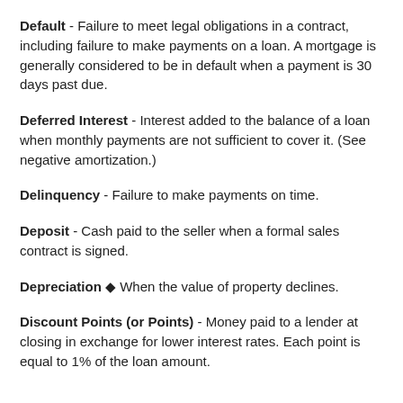Default – Failure to meet legal obligations in a contract, including failure to make payments on a loan. A mortgage is generally considered to be in default when a payment is 30 days past due.
Deferred Interest – Interest added to the balance of a loan when monthly payments are not sufficient to cover it. (See negative amortization.)
Delinquency – Failure to make payments on time.
Deposit – Cash paid to the seller when a formal sales contract is signed.
Depreciation ◆ When the value of property declines.
Discount Points (or Points) – Money paid to a lender at closing in exchange for lower interest rates. Each point is equal to 1% of the loan amount.